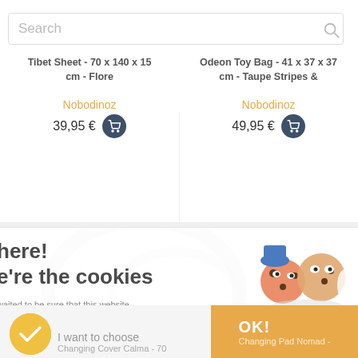Search
Tibet Sheet - 70 x 140 x 15 cm - Flore
Odeon Toy Bag - 41 x 37 x 37 cm - Taupe Stripes &
Nobodinoz
39,95 €
Nobodinoz
49,95 €
here!
e're the cookies
waited to be sure that this website ests you before knocking, but we have to know if we can be your panions during your visit.
Consents certified by axeptio
I want to choose
Changing Cover Calma - 70
OK!
Changing Pad Nomad -